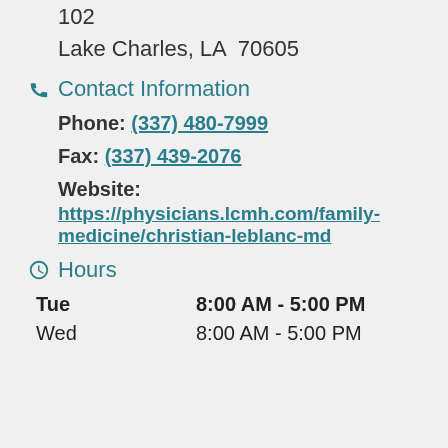102
Lake Charles, LA  70605
Contact Information
Phone: (337) 480-7999
Fax: (337) 439-2076
Website:
https://physicians.lcmh.com/family-medicine/christian-leblanc-md
Hours
Tue   8:00 AM - 5:00 PM
Wed   8:00 AM - 5:00 PM